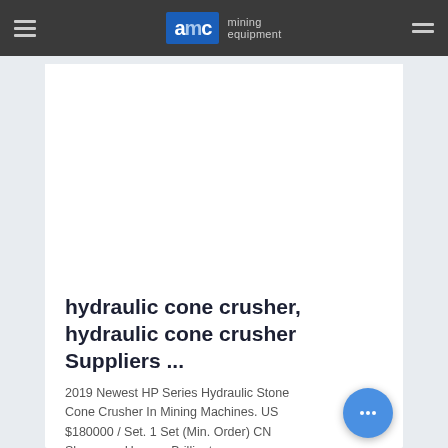AMC mining equipment
[Figure (photo): White blank image area placeholder within a product listing card]
hydraulic cone crusher, hydraulic cone crusher Suppliers ...
2019 Newest HP Series Hydraulic Stone Cone Crusher In Mining Machines. US $180000 / Set. 1 Set (Min. Order) CN Shenyang Huayue Brilliant ...